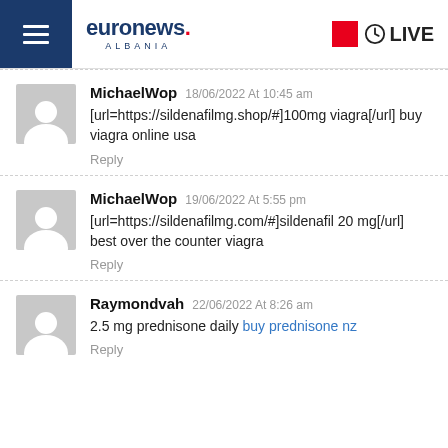[Figure (logo): Euronews Albania logo with hamburger menu on left and LIVE badge on right]
MichaelWop 18/06/2022 At 10:45 am
[url=https://sildenafilmg.shop/#]100mg viagra[/url] buy viagra online usa
Reply
MichaelWop 19/06/2022 At 5:55 pm
[url=https://sildenafilmg.com/#]sildenafil 20 mg[/url] best over the counter viagra
Reply
Raymondvah 22/06/2022 At 8:26 am
2.5 mg prednisone daily buy prednisone nz
Reply